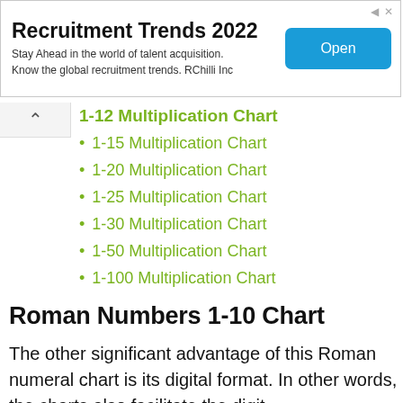[Figure (other): Advertisement banner for Recruitment Trends 2022 by RChilli Inc with an Open button]
1-12 Multiplication Chart
1-15 Multiplication Chart
1-20 Multiplication Chart
1-25 Multiplication Chart
1-30 Multiplication Chart
1-50 Multiplication Chart
1-100 Multiplication Chart
Roman Numbers 1-10 Chart
The other significant advantage of this Roman numeral chart is its digital format. In other words, the charts also facilitate the digital...